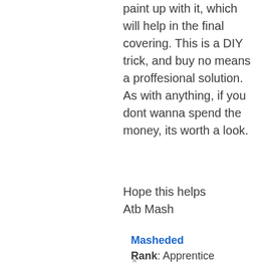paint up with it, which will help in the final covering. This is a DIY trick, and buy no means a proffesional solution. As with anything, if you dont wanna spend the money, its worth a look.
Hope this helps
Atb Mash
Masheded
Rank: Apprentice
×